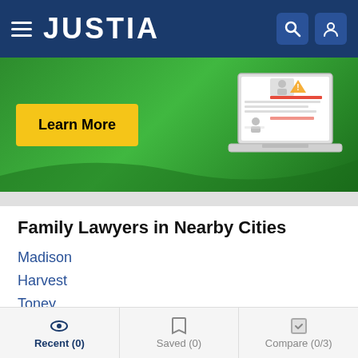JUSTIA
[Figure (screenshot): Justia website banner with green background, Learn More yellow button, and laptop illustration showing legal profile page]
Family Lawyers in Nearby Cities
Madison
Harvest
Toney
Ardmore
Huntsville
Decatur
Family Lawyers in Nearby Counties
Recent (0)  Saved (0)  Compare (0/3)